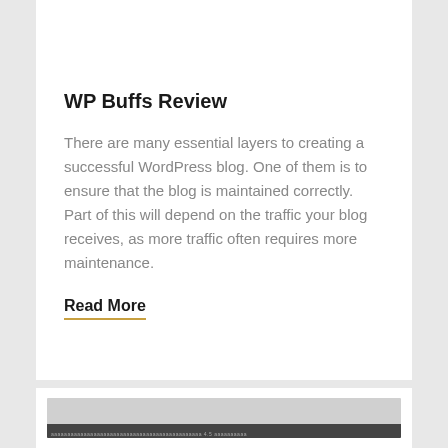WP Buffs Review
There are many essential layers to creating a successful WordPress blog. One of them is to ensure that the blog is maintained correctly. Part of this will depend on the traffic your blog receives, as more traffic often requires more maintenance.
Read More
[Figure (screenshot): Screenshot of a website or application interface showing a dark navigation bar with text and menu items]